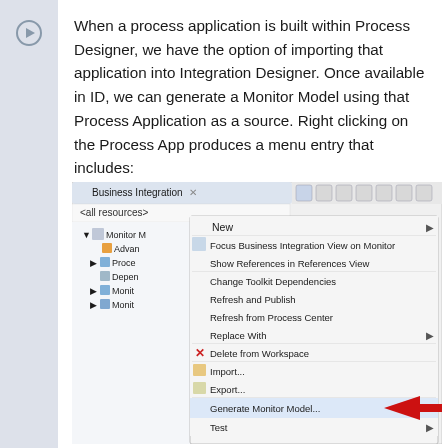When a process application is built within Process Designer, we have the option of importing that application into Integration Designer. Once available in ID, we can generate a Monitor Model using that Process Application as a source. Right clicking on the Process App produces a menu entry that includes:
[Figure (screenshot): Screenshot of Eclipse-based Business Integration IDE showing a right-click context menu on a Monitor Model node, with menu items including New, Focus Business Integration View on Monitor, Show References in References View, Change Toolkit Dependencies, Refresh and Publish, Refresh from Process Center, Replace With, Delete from Workspace, Import..., Export..., Generate Monitor Model... (highlighted with a red arrow), and Test.]